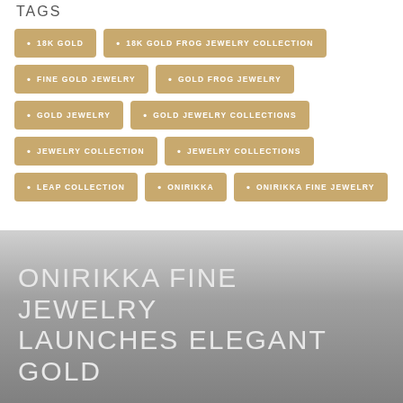TAGS
18K GOLD
18K GOLD FROG JEWELRY COLLECTION
FINE GOLD JEWELRY
GOLD FROG JEWELRY
GOLD JEWELRY
GOLD JEWELRY COLLECTIONS
JEWELRY COLLECTION
JEWELRY COLLECTIONS
LEAP COLLECTION
ONIRIKKA
ONIRIKKA FINE JEWELRY
ONIRIKKA FINE JEWELRY LAUNCHES ELEGANT GOLD